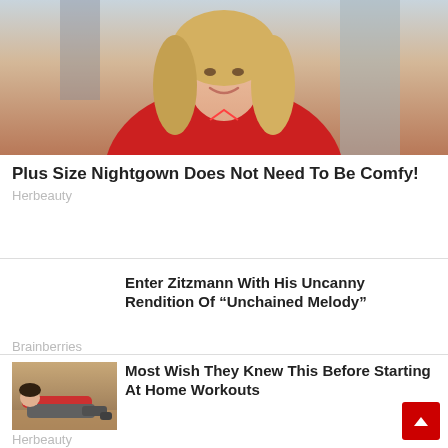[Figure (photo): Woman with blonde hair wearing a red top, smiling, in a kitchen setting]
Plus Size Nightgown Does Not Need To Be Comfy!
Herbeauty
Enter Zitzmann With His Uncanny Rendition Of “Unchained Melody”
Brainberries
[Figure (photo): Person in workout clothes doing a plank or floor exercise]
Most Wish They Knew This Before Starting At Home Workouts
Herbeauty